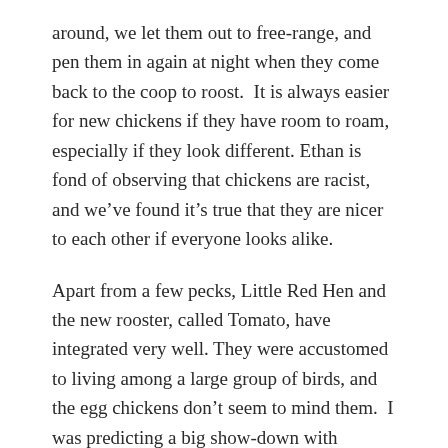around, we let them out to free-range, and pen them in again at night when they come back to the coop to roost.  It is always easier for new chickens if they have room to roam, especially if they look different. Ethan is fond of observing that chickens are racist, and we've found it's true that they are nicer to each other if everyone looks alike.
Apart from a few pecks, Little Red Hen and the new rooster, called Tomato, have integrated very well. They were accustomed to living among a large group of birds, and the egg chickens don't seem to mind them.  I was predicting a big show-down with Tomato and Barley, but despite his size and heft, Tomato is a big coward, and prefers chasing after the ladies to challenging Barley, who is a bantam